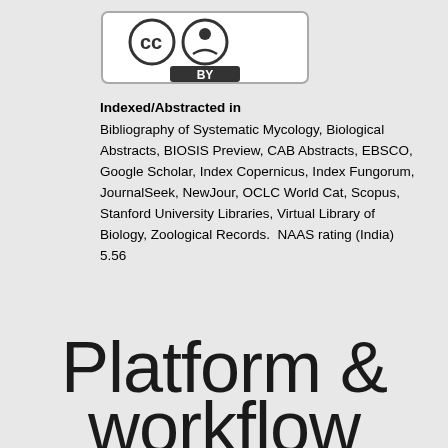[Figure (logo): Creative Commons Attribution (CC BY) license logo with CC and person icons]
Indexed/Abstracted in
Bibliography of Systematic Mycology, Biological Abstracts, BIOSIS Preview, CAB Abstracts, EBSCO, Google Scholar, Index Copernicus, Index Fungorum, JournalSeek, NewJour, OCLC World Cat, Scopus, Stanford University Libraries, Virtual Library of Biology, Zoological Records.  NAAS rating (India) 5.56
Platform &